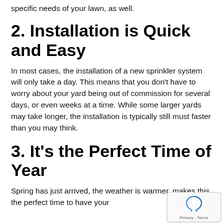specific needs of your lawn, as well.
2. Installation is Quick and Easy
In most cases, the installation of a new sprinkler system will only take a day. This means that you don't have to worry about your yard being out of commission for several days, or even weeks at a time. While some larger yards may take longer, the installation is typically still must faster than you may think.
3. It's the Perfect Time of Year
Spring has just arrived, the weather is warmer, makes this the perfect time to have your